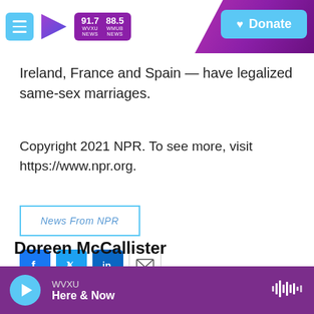[Figure (logo): WVXU NPR radio header with menu button, play arrow logo, station frequency boxes (91.7 WVXU NEWS, 88.5 WMUB NEWS), purple diagonal stripe, and cyan Donate button]
Ireland, France and Spain — have legalized same-sex marriages.
Copyright 2021 NPR. To see more, visit https://www.npr.org.
News From NPR
[Figure (infographic): Social sharing icons: Facebook (blue f), Twitter (blue bird), LinkedIn (blue in), Email (envelope outline)]
Doreen McCallister
WVXU Here & Now